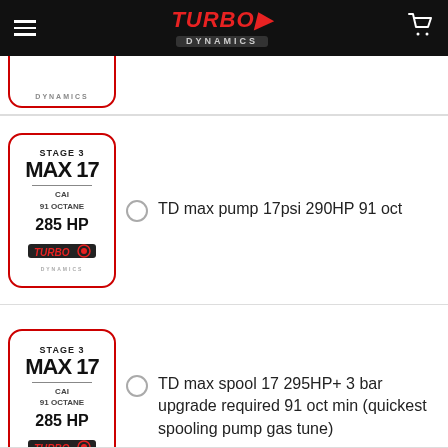Turbo Dynamics
[Figure (logo): Partially visible Stage 3 product card at top of page]
[Figure (illustration): Stage 3 Max 17 CAI 91 Octane 285 HP Turbo Dynamics product label card]
TD max pump 17psi 290HP 91 oct
[Figure (illustration): Stage 3 Max 17 CAI 91 Octane 285 HP Turbo Dynamics product label card]
TD max spool 17 295HP+ 3 bar upgrade required 91 oct min (quickest spooling pump gas tune)